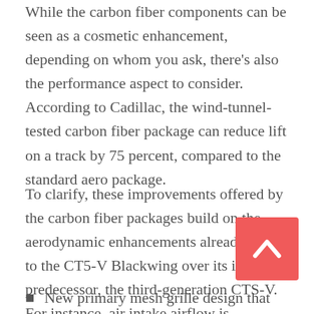While the carbon fiber components can be seen as a cosmetic enhancement, depending on whom you ask, there's also the performance aspect to consider. According to Cadillac, the wind-tunnel-tested carbon fiber package can reduce lift on a track by 75 percent, compared to the standard aero package.
To clarify, these improvements offered by the carbon fiber packages build on the aerodynamic enhancements already made to the CT5-V Blackwing over its indirect predecessor, the third-generation CTS-V. For instance, air intake airflow is improved by 46 percent compared to the CTS-V. Other improvements include:
New primary mesh grille design that improves